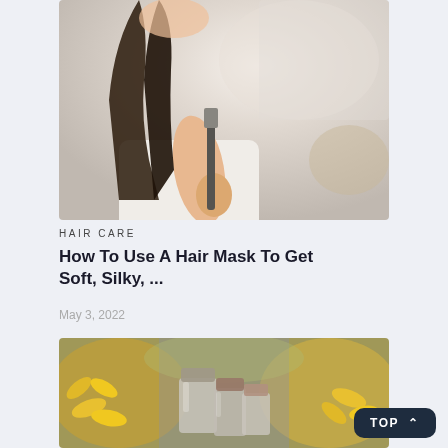[Figure (photo): Woman holding hair with a hair styling tool, blurred bathroom background]
HAIR CARE
How To Use A Hair Mask To Get Soft, Silky, ...
May 3, 2022
[Figure (photo): Glass jars with cork lids surrounded by yellow flowers and herbs, blurred colorful background]